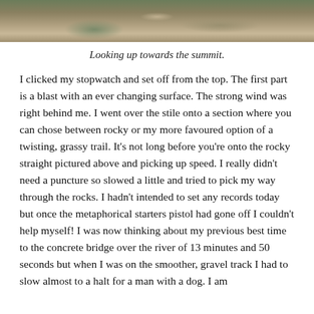[Figure (photo): Photo of a rocky mountain trail looking up towards the summit, with stones and grassy vegetation visible.]
Looking up towards the summit.
I clicked my stopwatch and set off from the top. The first part is a blast with an ever changing surface. The strong wind was right behind me. I went over the stile onto a section where you can chose between rocky or my more favoured option of a twisting, grassy trail. It’s not long before you’re onto the rocky straight pictured above and picking up speed. I really didn’t need a puncture so slowed a little and tried to pick my way through the rocks. I hadn’t intended to set any records today but once the metaphorical starters pistol had gone off I couldn’t help myself! I was now thinking about my previous best time to the concrete bridge over the river of 13 minutes and 50 seconds but when I was on the smoother, gravel track I had to slow almost to a halt for a man with a dog. I am